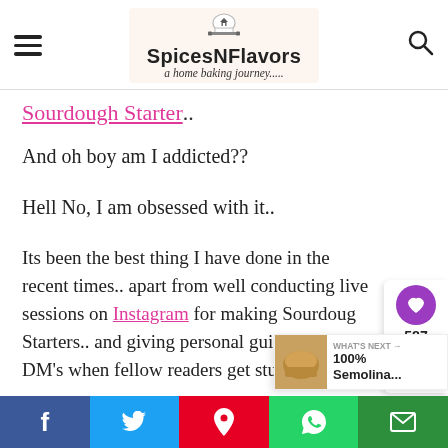SpicesNFlavors - a home baking journey.....
Sourdough Starter..
And oh boy am I addicted??
Hell No, I am obsessed with it..
Its been the best thing I have done in the recent times.. apart from well conducting live sessions on Instagram for making Sourdough Starters.. and giving personal guidance on my DM's when fellow readers get stuck i
f  t  p  WhatsApp  email